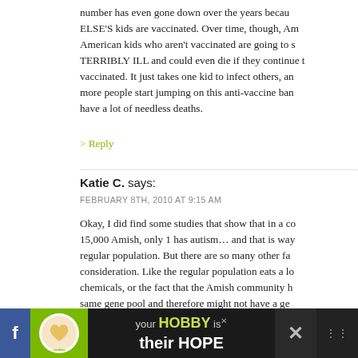number has even gone down over the years because ELSE'S kids are vaccinated. Over time, though, American kids who aren't vaccinated are going to start getting TERRIBLY ILL and could even die if they continue to not be vaccinated. It just takes one kid to infect others, and as more people start jumping on this anti-vaccine bandwagon, we'll have a lot of needless deaths.
> Reply
Katie C. says:
FEBRUARY 8TH, 2010 AT 9:15 AM
Okay, I did find some studies that show that in a community of 15,000 Amish, only 1 has autism... and that is way less than the regular population. But there are so many other factors to take into consideration. Like the regular population eats a lot more food with chemicals, or the fact that the Amish community has pretty much the same gene pool and therefore might not have a genetic tendency for autism. Who knows WHAT causes autism? But the
[Figure (screenshot): Advertisement banner at page bottom: cookies for kid cancer logo on green background, text 'your HOBBY is their HOPE', social media icons on dark background]